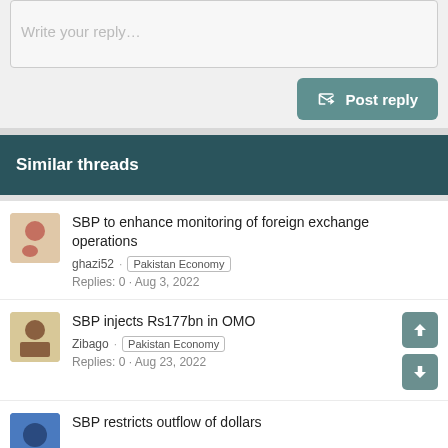Write your reply…
Post reply
Similar threads
SBP to enhance monitoring of foreign exchange operations
ghazi52 · Pakistan Economy
Replies: 0 · Aug 3, 2022
SBP injects Rs177bn in OMO
Zibago · Pakistan Economy
Replies: 0 · Aug 23, 2022
SBP restricts outflow of dollars